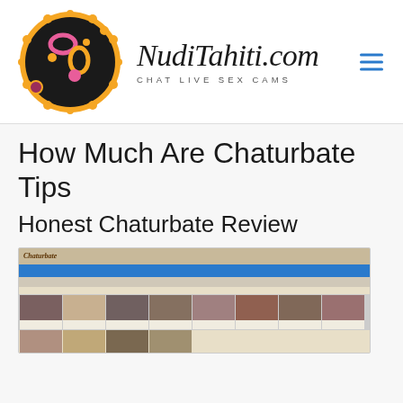[Figure (logo): NudiTahiti.com logo with decorative circular emblem on the left and italic text 'NudiTahiti.com' with tagline 'CHAT LIVE SEX CAMS' on the right, plus hamburger menu icon]
How Much Are Chaturbate Tips
Honest Chaturbate Review
[Figure (screenshot): Screenshot of Chaturbate website showing grid of thumbnail images with navigation bar]